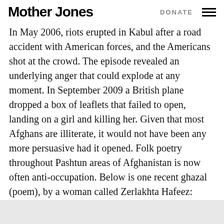Mother Jones | DONATE
In May 2006, riots erupted in Kabul after a road accident with American forces, and the Americans shot at the crowd. The episode revealed an underlying anger that could explode at any moment. In September 2009 a British plane dropped a box of leaflets that failed to open, landing on a girl and killing her. Given that most Afghans are illiterate, it would not have been any more persuasive had it opened. Folk poetry throughout Pashtun areas of Afghanistan is now often anti-occupation. Below is one recent ghazal (poem), by a woman called Zerlakhta Hafeez: